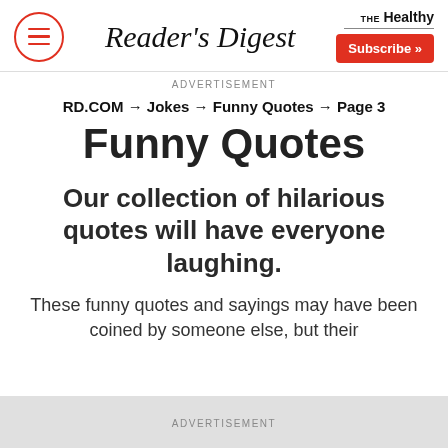Reader's Digest | THE Healthy | Subscribe >>
ADVERTISEMENT
RD.COM → Jokes → Funny Quotes → Page 3
Funny Quotes
Our collection of hilarious quotes will have everyone laughing.
These funny quotes and sayings may have been coined by someone else, but their
ADVERTISEMENT